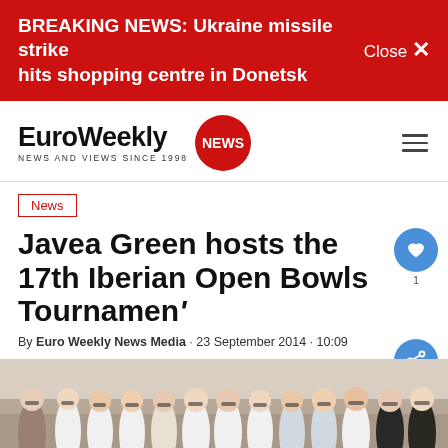BREAKING NEWS: Ukraine missile strike hits shopping centre in Donetsk   Close ×
[Figure (logo): EuroWeekly NEWS logo with red circle badge and tagline NEWS AND VIEWS SINCE 1998]
News
Javea Green hosts the 17th Iberian Open Bowls Tournament
By Euro Weekly News Media · 23 September 2014 · 10:09
[Figure (photo): Group photo of bowls tournament participants standing outdoors in white uniforms and casual clothes in front of a stone wall]